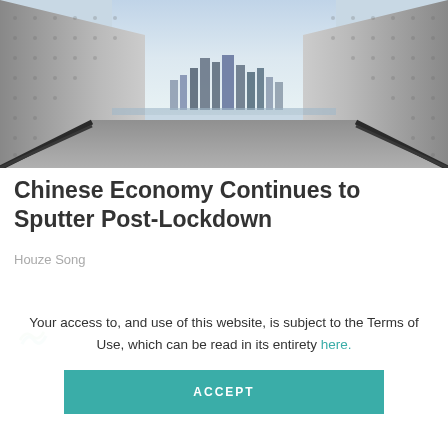[Figure (photo): Architectural corridor with concrete walls flanking a central opening revealing a city skyline at dusk, with a wide floor/walkway leading toward the skyline.]
Chinese Economy Continues to Sputter Post-Lockdown
Houze Song
[Figure (logo): Small circular logo partially visible at bottom left of content area]
Your access to, and use of this website, is subject to the Terms of Use, which can be read in its entirety here.
ACCEPT